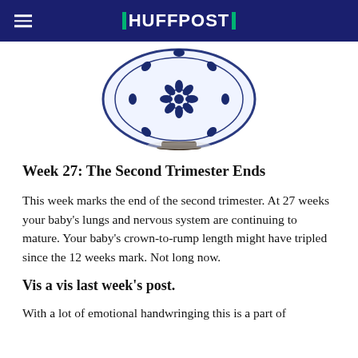HUFFPOST
[Figure (photo): Blue and white decorative Chinese porcelain plate on a stand, partially cropped at the top of the page]
Week 27: The Second Trimester Ends
This week marks the end of the second trimester. At 27 weeks your baby's lungs and nervous system are continuing to mature. Your baby's crown-to-rump length might have tripled since the 12 weeks mark. Not long now.
Vis a vis last week's post.
With a lot of emotional handwringing this is a part of